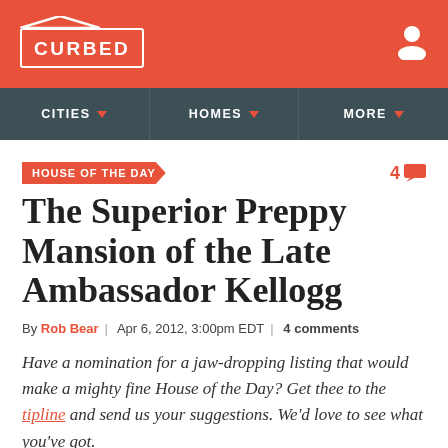CURBED
CITIES | HOMES | MORE
HOUSE OF THE DAY
The Superior Preppy Mansion of the Late Ambassador Kellogg
By Rob Bear | Apr 6, 2012, 3:00pm EDT | 4 comments
Have a nomination for a jaw-dropping listing that would make a mighty fine House of the Day? Get thee to the tipline and send us your suggestions. We'd love to see what you've got.